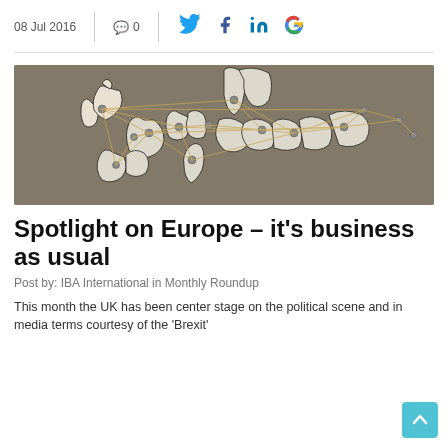08 Jul 2016   0
[Figure (photo): A decorative map of Europe made from string and pins on a wooden board, showing country outlines with connecting strings between pins.]
Spotlight on Europe – it's business as usual
Post by: IBA International in Monthly Roundup
This month the UK has been center stage on the political scene and in media terms courtesy of the 'Brexit'